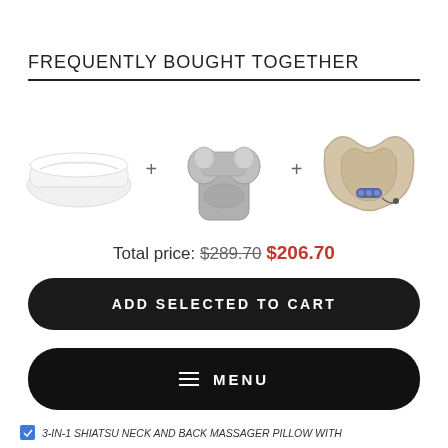FREQUENTLY BOUGHT TOGETHER
[Figure (photo): Three product images: a white memory foam pillow, a grey shiatsu back massager device, and a beige neck travel pillow with massager, separated by plus signs.]
Total price: $289.70  $206.70
ADD SELECTED TO CART
≡  MENU
3-IN-1 SHIATSU NECK AND BACK MASSAGER PILLOW WITH